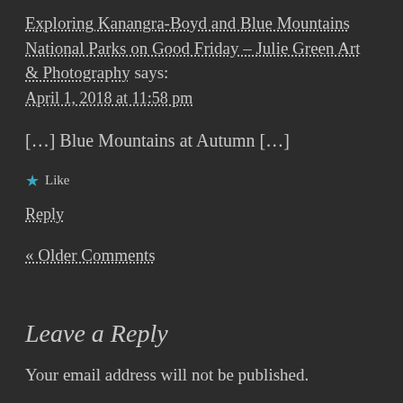Exploring Kanangra-Boyd and Blue Mountains National Parks on Good Friday – Julie Green Art & Photography says:
April 1, 2018 at 11:58 pm
[…] Blue Mountains at Autumn […]
★ Like
Reply
« Older Comments
Leave a Reply
Your email address will not be published.